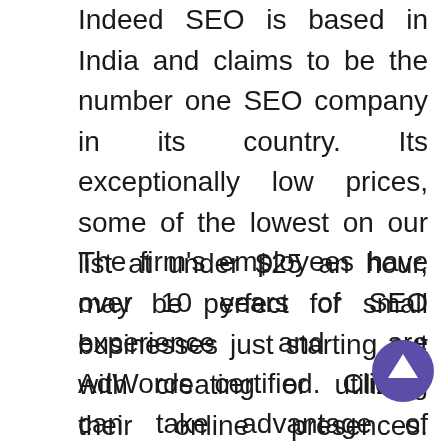Indeed SEO is based in India and claims to be the number one SEO company in its country. Its exceptionally low prices, some of the lowest on our list at under $25 an hour, may be perfect for small businesses just starting out with creating or utilizing their online presences. Additionally, the firm guarantees clients a top Google ranking within a specified time frame.
The firm's employees have over 10 years of SEO experience and are AdWords certified. Clients can take advantage of around-the-clock customer support and stay abreast of how their online strategies are working through daily and weekly reports. The firm also offers the service of removing negative reviews through public relations and reputation management. Additionally, the firm can provide link building, social media